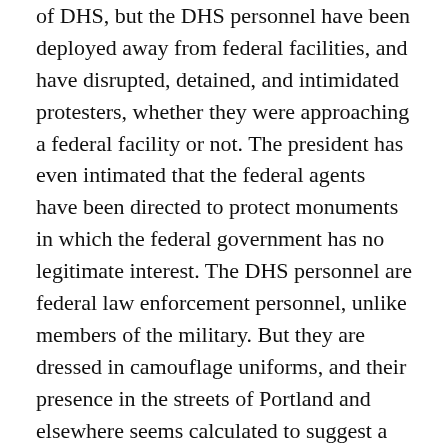of DHS, but the DHS personnel have been deployed away from federal facilities, and have disrupted, detained, and intimidated protesters, whether they were approaching a federal facility or not. The president has even intimated that the federal agents have been directed to protect monuments in which the federal government has no legitimate interest. The DHS personnel are federal law enforcement personnel, unlike members of the military. But they are dressed in camouflage uniforms, and their presence in the streets of Portland and elsewhere seems calculated to suggest a military operation. The presence of federal officers in Portland has done nothing to bring peace to the streets and seems intended to perpetuate and deepen disruptions.
This usurpation of local policing powers comes as the president's abysmal performance of genuine federal responsibilities has led to cratering polling results and,